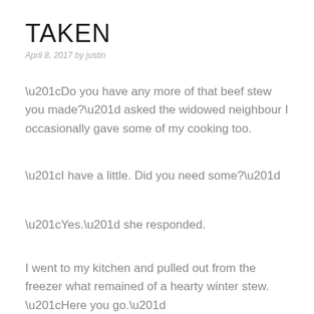TAKEN
April 8, 2017 by justin
“Do you have any more of that beef stew you made?” asked the widowed neighbour I occasionally gave some of my cooking too.
“I have a little. Did you need some?”
“Yes.” she responded.
I went to my kitchen and pulled out from the freezer what remained of a hearty winter stew. “Here you go.”
“This isn’t enough.”